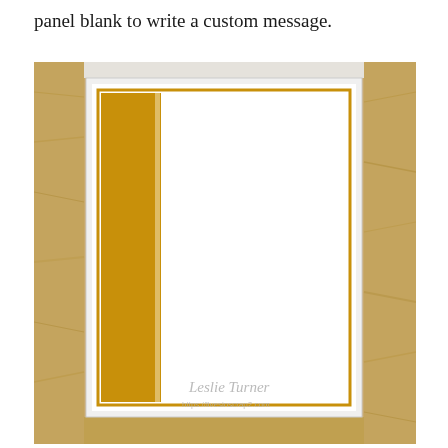panel blank to write a custom message.
[Figure (photo): A handmade greeting card photographed on a wood background. The card is white with a gold/mustard colored vertical stripe on the left side and a gold border frame. The center panel is blank white. At the bottom it reads 'Leslie Turner' and 'https://livesinscrap2.com'.]